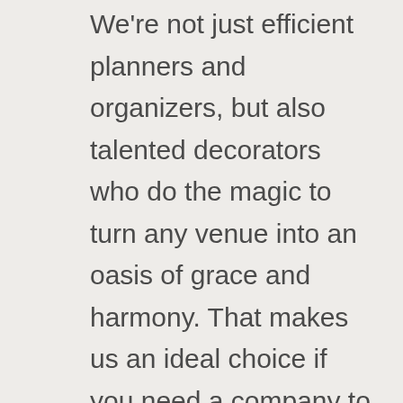We're not just efficient planners and organizers, but also talented decorators who do the magic to turn any venue into an oasis of grace and harmony. That makes us an ideal choice if you need a company to cater to all the important elements of your project, from commencement to completion. Lilai Events Luxury wedding Planners in Dubai, Our vast range of services includes venue selection, planning, and organization, design, and production, decorating project coordination, and execution.